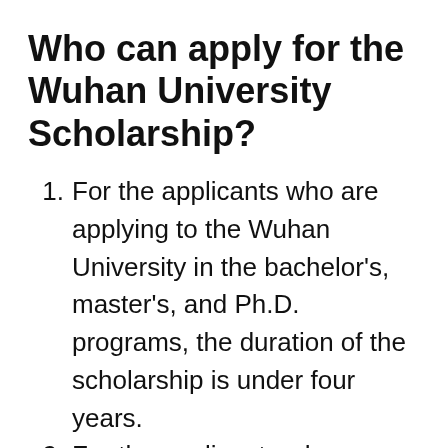Who can apply for the Wuhan University Scholarship?
For the applicants who are applying to the Wuhan University in the bachelor's, master's, and Ph.D. programs, the duration of the scholarship is under four years.
For the applicants who are enrolled in any kind of program teaching the Chinese language or any other relevant subject at Wuhan University, the duration of the grant is under one year.